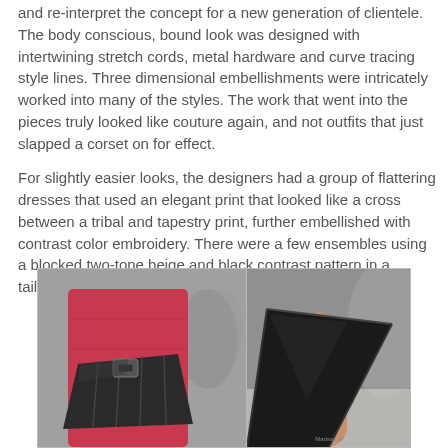and re-interpret the concept for a new generation of clientele. The body conscious, bound look was designed with intertwining stretch cords, metal hardware and curve tracing style lines. Three dimensional embellishments were intricately worked into many of the styles. The work that went into the pieces truly looked like couture again, and not outfits that just slapped a corset on for effect.
For slightly easier looks, the designers had a group of flattering dresses that used an elegant print that looked like a cross between a tribal and tapestry print, further embellished with contrast color embroidery. There were a few ensembles using a blocked two-tone beige and black contrast pattern in a tailored, curvy silhouette.
[Figure (photo): Two side-by-side fashion photos showing close-up details of accessories. Left photo shows a woman in a red/pink dress holding a dark grey/black geometric structured clutch bag with metal hardware. Right photo shows a close-up of a hand holding a black triangular geometric bag or accessory.]